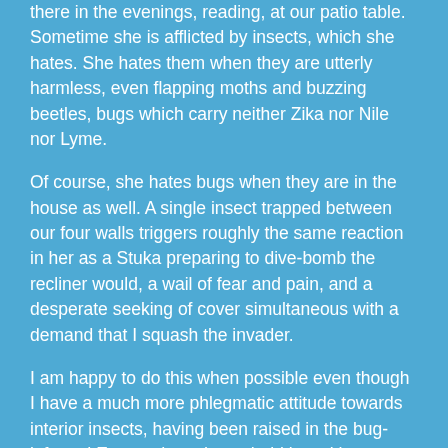there in the evenings, reading, at our patio table. Sometime she is afflicted by insects, which she hates. She hates them when they are utterly harmless, even flapping moths and buzzing beetles, bugs which carry neither Zika nor Nile nor Lyme.
Of course, she hates bugs when they are in the house as well. A single insect trapped between our four walls triggers roughly the same reaction in her as a Stuka preparing to dive-bomb the recliner would, a wail of fear and pain, and a desperate seeking of cover simultaneous with a demand that I squash the invader.
I am happy to do this when possible even though I have a much more phlegmatic attitude towards interior insects, having been raised in the bug-infested East and used to cohabiting with a certain amount of insect life. In particular, spiders. My mother regards spiders as individual pest control agents of the highest order.
“Don’t kill spiders,” she often commanded me in my youth. “They eat other bugs.”
“Not nearly enough of them,” I would reply, as I contemplated the